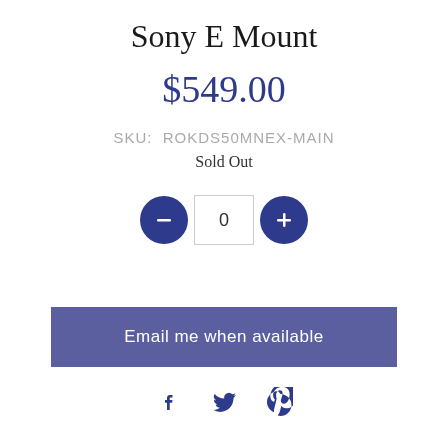Sony E Mount
$549.00
SKU:  ROKDS50MNEX-MAIN
Sold Out
[Figure (other): Quantity selector with minus button, input box showing 0, and plus button]
Email me when available
[Figure (other): Social sharing icons: Facebook, Twitter, Pinterest]